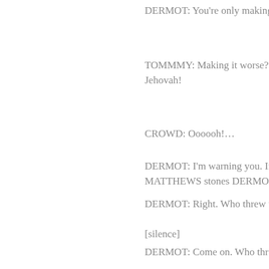DERMOT: You're only making it w...
TOMMMY: Making it worse?! How... Jehovah!
CROWD: Oooooh!…
DERMOT: I'm warning you. If you... MATTHEWS stones DERMOT]
DERMOT: Right. Who threw that?
[silence]
DERMOT: Come on. Who threw th...
CROWD: She did! It was her! He!...
DERMOT: Was it you?
MR A. MATTHEWS (wearing a fa...